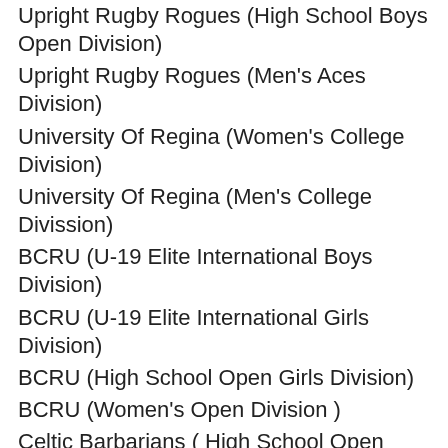Upright Rugby Rogues (High School Boys Open Division)
Upright Rugby Rogues (Men's Aces Division)
University Of Regina (Women's College Division)
University Of Regina (Men's College Divission)
BCRU (U-19 Elite International Boys Division)
BCRU (U-19 Elite International Girls Division)
BCRU (High School Open Girls Division)
BCRU (Women's Open Division )
Celtic Barbarians ( High School Open Boys)
BCRU U-23 Men ( Men's Open Division)
Notre Dame Hounds (U-19 IElite International Girls Division)
Edmonton Gold (U-19 International Girls Division)
Ontario Junior Storm (High School Open Girls Division)
Shawnigan Lake School (High School Girls 15's Division) * note 15's division
Shawnigan Lake School (High School Open Girls